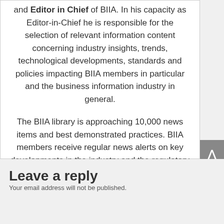and Editor in Chief of BIIA. In his capacity as Editor-in-Chief he is responsible for the selection of relevant information content concerning industry insights, trends, technological developments, standards and policies impacting BIIA members in particular and the business information industry in general.
The BIIA library is approaching 10,000 news items and best demonstrated practices. BIIA members receive regular news alerts on key developments in the industry and the regulatory environment. The BIIA readership is widespread: between 4 to 5 thousand unique visitors access BIIA.com per month.
Leave a reply
Your email address will not be published.